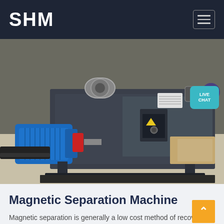SHM
[Figure (photo): Industrial magnetic separation machine with blue electric motor on the left side, mounted on a grey steel frame, photographed in a warehouse or factory setting.]
Magnetic Separation Machine
Magnetic separation is generally a low cost method of recovery, unless high intensity separators are required. The electro-magnetic high intensity...